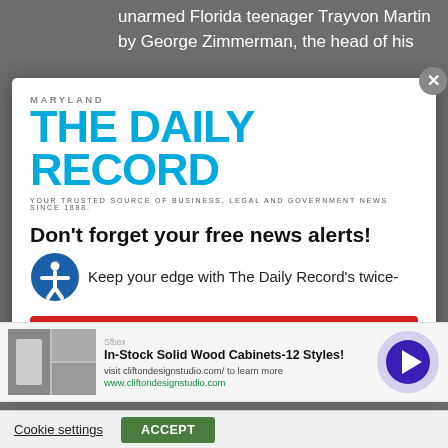unarmed Florida teenager Trayvon Martin by George Zimmerman, the head of his
[Figure (logo): Maryland The Daily Record logo - blue bold masthead with tagline 'YOUR TRUSTED SOURCE OF BUSINESS, LEGAL AND GOVERNMENT NEWS SINCE 1888.']
Don't forget your free news alerts!
Keep your edge with The Daily Record's twice-
[Figure (infographic): Advertisement banner: In-Stock Solid Wood Cabinets-12 Styles! visit cliftondesignstudio.com/ to learn more www.cliftondesignstudio.com]
SIGN UP FOR FREE
Cookie settings   ACCEPT